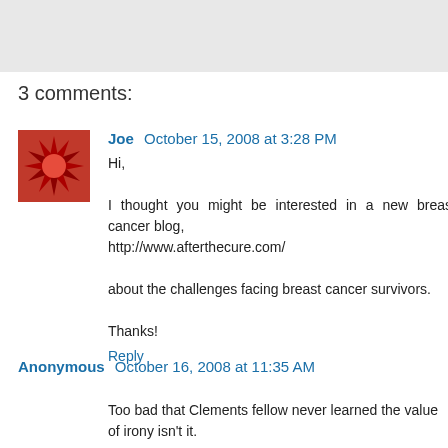3 comments:
[Figure (illustration): Red avatar image with sunburst/spiky pattern for user Joe]
Joe  October 15, 2008 at 3:28 PM
Hi,

I thought you might be interested in a new breast cancer blog,
http://www.afterthecure.com/

about the challenges facing breast cancer survivors.

Thanks!
Reply
Anonymous  October 16, 2008 at 11:35 AM
Too bad that Clements fellow never learned the value of irony isn't it.